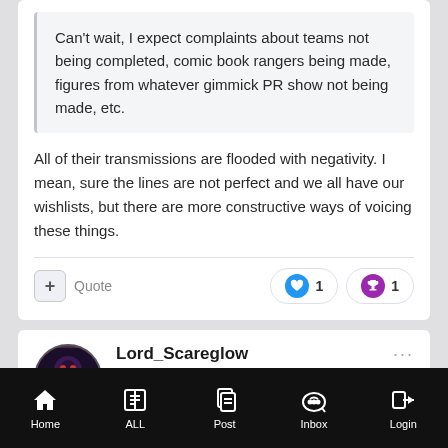Can't wait, I expect complaints about teams not being completed, comic book rangers being made, figures from whatever gimmick PR show not being made, etc.
All of their transmissions are flooded with negativity. I mean, sure the lines are not perfect and we all have our wishlists, but there are more constructive ways of voicing these things.
Lord_Scareglow
Posted August 6, 2020
Home  ALL  Post  Inbox  Login